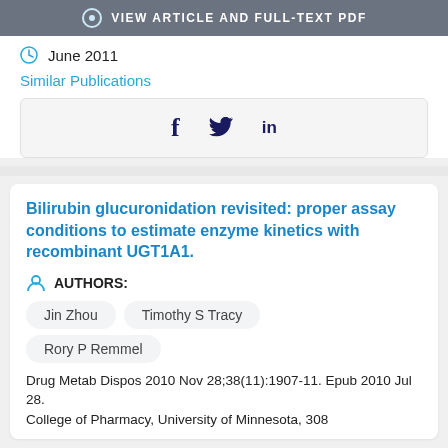VIEW ARTICLE AND FULL-TEXT PDF
June 2011
Similar Publications
[Figure (other): Social share bar with Facebook (f), Twitter (bird), and LinkedIn (in) icons]
Bilirubin glucuronidation revisited: proper assay conditions to estimate enzyme kinetics with recombinant UGT1A1.
AUTHORS:
Jin Zhou
Timothy S Tracy
Rory P Remmel
Drug Metab Dispos 2010 Nov 28;38(11):1907-11. Epub 2010 Jul 28.
College of Pharmacy, University of Minnesota, 308